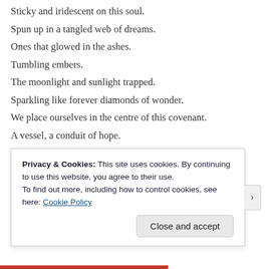Sticky and iridescent on this soul.
Spun up in a tangled web of dreams.
Ones that glowed in the ashes.
Tumbling embers.
The moonlight and sunlight trapped.
Sparkling like forever diamonds of wonder.
We place ourselves in the centre of this covenant.
A vessel, a conduit of hope.
Where you crack and splinter.
The gold of our love drips in and fuses shut.
That Japanese way, all smiles and bowing.
Head towing, heart directed towards the seventh heaven.
Privacy & Cookies: This site uses cookies. By continuing to use this website, you agree to their use.
To find out more, including how to control cookies, see here: Cookie Policy